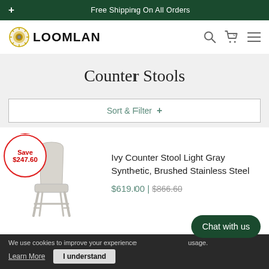Free Shipping On All Orders
[Figure (logo): LOOMLAN logo with golden gear/circle icon and bold text]
Counter Stools
Sort & Filter +
[Figure (photo): Ivy Counter Stool Light Gray Synthetic, Brushed Stainless Steel product photo with Save $247.60 badge]
Ivy Counter Stool Light Gray Synthetic, Brushed Stainless Steel
$619.00 | $866.60
We use cookies to improve your experience ... usage. Learn More   I understand